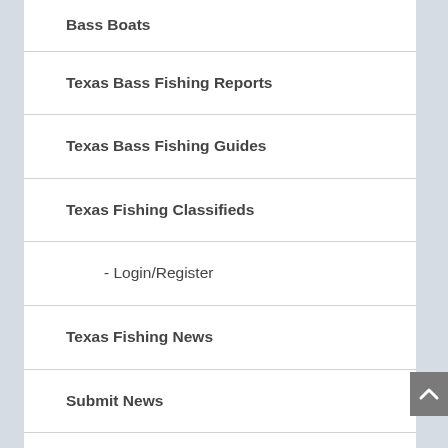Bass Boats
Texas Bass Fishing Reports
Texas Bass Fishing Guides
Texas Fishing Classifieds
- Login/Register
Texas Fishing News
Submit News